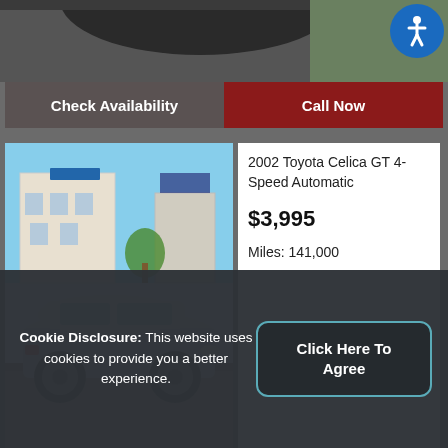[Figure (photo): Top portion of a car listing page showing a partial car image (wheel/roof visible), accessibility icon button in top right corner]
Check Availability
Call Now
[Figure (photo): Silver 2002 Toyota Celica GT parked in a lot with buildings in background]
2002 Toyota Celica GT 4-Speed Automatic
$3,995
Miles: 141,000
Check Availability
Call Now
[Figure (photo): 2015 Toyota Sienna with AWD badge visible, partial view]
2015 Toyota Sienna Limited Premium AWD V-6 7-Passenger
Cookie Disclosure: This website uses cookies to provide you a better experience.
Click Here To Agree